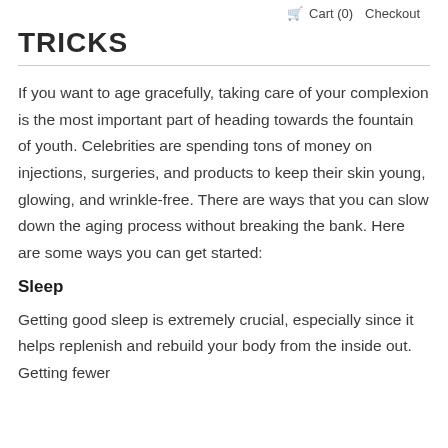Cart (0)   Checkout
TRICKS
If you want to age gracefully, taking care of your complexion is the most important part of heading towards the fountain of youth. Celebrities are spending tons of money on injections, surgeries, and products to keep their skin young, glowing, and wrinkle-free. There are ways that you can slow down the aging process without breaking the bank. Here are some ways you can get started:
Sleep
Getting good sleep is extremely crucial, especially since it helps replenish and rebuild your body from the inside out. Getting fewer